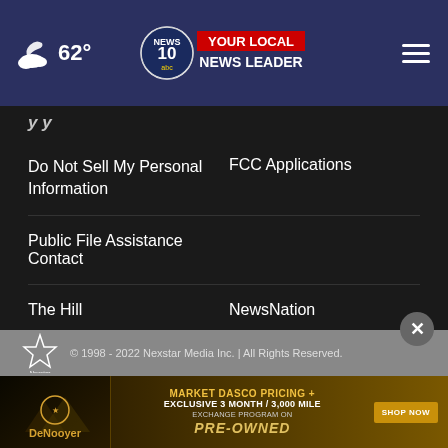62° — NEWS 10 ABC YOUR LOCAL NEWS LEADER
ry ry
Do Not Sell My Personal Information
FCC Applications
Public File Assistance Contact
The Hill
NewsNation
BestReviews
Content Licensing
Nexstar Digital
© 1998 - 2022 Nexstar Media Inc. | All Rights Reserved.
[Figure (screenshot): Advertisement banner for DeNooyer dealership featuring market Dasco Pricing + Exclusive 3 Month / 3,000 Mile Exchange Program on Pre-Owned vehicles with Shop Now button]